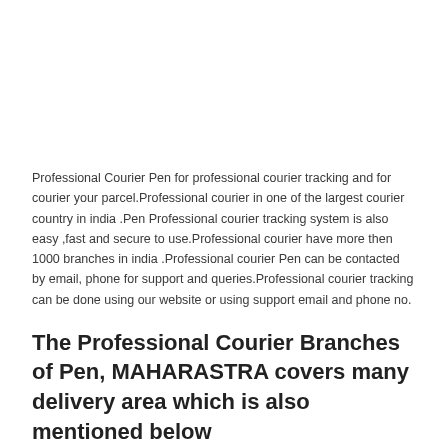Professional Courier Pen for professional courier tracking and for courier your parcel.Professional courier in one of the largest courier country in india .Pen Professional courier tracking system is also easy ,fast and secure to use.Professional courier have more then 1000 branches in india .Professional courier Pen can be contacted by email, phone for support and queries.Professional courier tracking can be done using our website or using support email and phone no.
The Professional Courier Branches of Pen, MAHARASTRA covers many delivery area which is also mentioned below